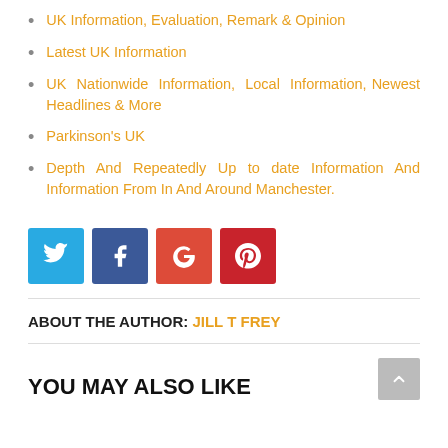UK Information, Evaluation, Remark & Opinion
Latest UK Information
UK Nationwide Information, Local Information, Newest Headlines & More
Parkinson's UK
Depth And Repeatedly Up to date Information And Information From In And Around Manchester.
[Figure (infographic): Social media share buttons: Twitter (blue), Facebook (dark blue), Google (red-orange), Pinterest (dark red)]
ABOUT THE AUTHOR: JILL T FREY
YOU MAY ALSO LIKE